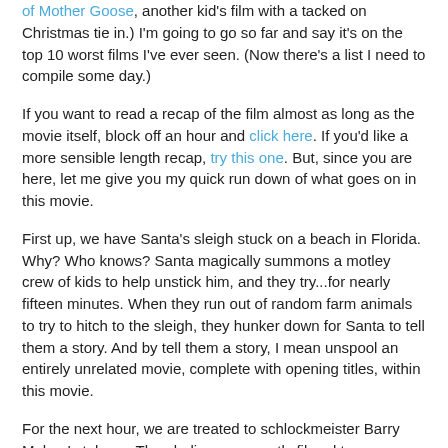of Mother Goose, another kid's film with a tacked on Christmas tie in.) I'm going to go so far and say it's on the top 10 worst films I've ever seen. (Now there's a list I need to compile some day.)
If you want to read a recap of the film almost as long as the movie itself, block off an hour and click here. If you'd like a more sensible length recap, try this one. But, since you are here, let me give you my quick run down of what goes on in this movie.
First up, we have Santa's sleigh stuck on a beach in Florida. Why? Who knows? Santa magically summons a motley crew of kids to help unstick him, and they try...for nearly fifteen minutes. When they run out of random farm animals to try to hitch to the sleigh, they hunker down for Santa to tell them a story. And by tell them a story, I mean unspool an entirely unrelated movie, complete with opening titles, within this movie.
For the next hour, we are treated to schlockmeister Barry Mahon's take on Thumbelina, apparently filmed two years